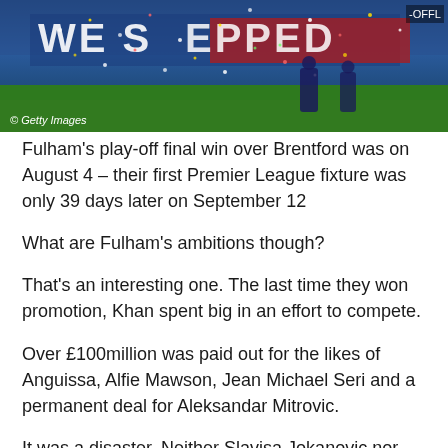[Figure (photo): Football celebration scene with players on pitch, blue and red banners visible with text 'WE STEPPED UP', confetti falling, Getty Images watermark in bottom left, -OFFL label top right]
© Getty Images
Fulham's play-off final win over Brentford was on August 4 – their first Premier League fixture was only 39 days later on September 12
What are Fulham's ambitions though?
That's an interesting one. The last time they won promotion, Khan spent big in an effort to compete.
Over £100million was paid out for the likes of Anguissa, Alfie Mawson, Jean Michael Seri and a permanent deal for Aleksandar Mitrovic.
It was a disaster. Neither Slavisa Jokanovic nor Claudio Ranieri could fit these square pegs into round holes. By the time Parker came in as caretaker boss, relegation was a